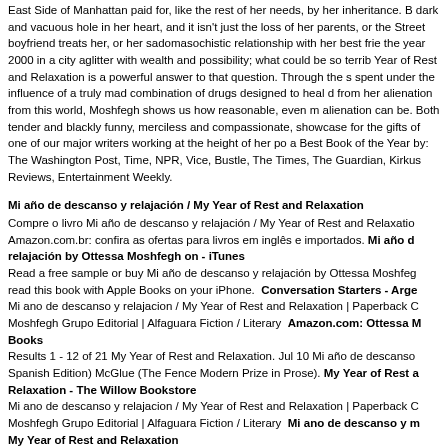East Side of Manhattan paid for, like the rest of her needs, by her inheritance. B dark and vacuous hole in her heart, and it isn't just the loss of her parents, or the Street boyfriend treats her, or her sadomasochistic relationship with her best frie the year 2000 in a city aglitter with wealth and possibility; what could be so terrib Year of Rest and Relaxation is a powerful answer to that question. Through the s spent under the influence of a truly mad combination of drugs designed to heal d from her alienation from this world, Moshfegh shows us how reasonable, even m alienation can be. Both tender and blackly funny, merciless and compassionate, showcase for the gifts of one of our major writers working at the height of her po a Best Book of the Year by:  The Washington Post, Time, NPR, Vice, Bustle, The Times, The Guardian, Kirkus Reviews, Entertainment Weekly.
Mi año de descanso y relajación / My Year of Rest and Relaxation
Compre o livro Mi año de descanso y relajación / My Year of Rest and Relaxatio Amazon.com.br: confira as ofertas para livros em inglês e importados. Mi año d relajación by Ottessa Moshfegh on - iTunes Read a free sample or buy Mi año de descanso y relajación by Ottessa Moshfeg read this book with Apple Books on your iPhone.  Conversation Starters - Arge Mi ano de descanso y relajacion / My Year of Rest and Relaxation | Paperback C Moshfegh Grupo Editorial | Alfaguara Fiction / Literary  Amazon.com: Ottessa M Books Results 1 - 12 of 21 My Year of Rest and Relaxation. Jul 10 Mi año de descanso Spanish Edition) McGlue (The Fence Modern Prize in Prose). My Year of Rest a Relaxation - The Willow Bookstore Mi ano de descanso y relajacion / My Year of Rest and Relaxation | Paperback C Moshfegh Grupo Editorial | Alfaguara Fiction / Literary  Mi ano de descanso y m My Year of Rest and Relaxation